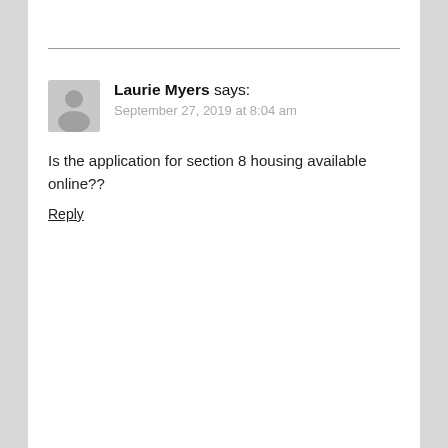[Figure (illustration): Gray silhouette avatar icon of a generic person/user]
Laurie Myers says:
September 27, 2019 at 8:04 am
Is the application for section 8 housing available online??
Reply